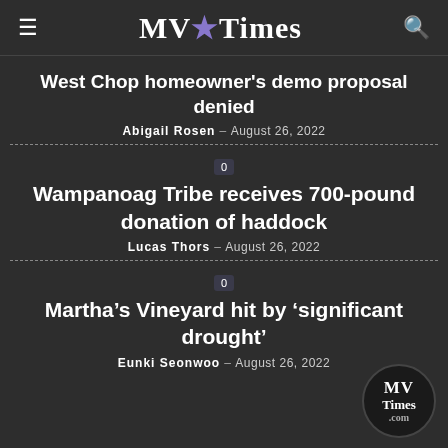MV Times
West Chop homeowner's demo proposal denied
Abigail Rosen - August 26, 2022
Wampanoag Tribe receives 700-pound donation of haddock
Lucas Thors - August 26, 2022
Martha’s Vineyard hit by ‘significant drought’
Eunki Seonwoo - August 26, 2022